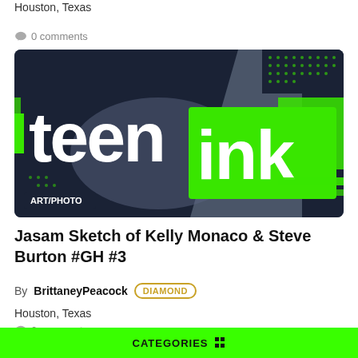Houston, Texas
💬 0 comments
[Figure (logo): Teen Ink logo banner with dark navy/grey background, large white 'teen' text on left and white 'ink' text on bright green rectangle on right, with green splatter design elements. Badge 'ART/PHOTO' in dark pill shape at bottom left.]
Jasam Sketch of Kelly Monaco & Steve Burton #GH #3
By BrittaneyPeacock DIAMOND
Houston, Texas
💬 0 comments
CATEGORIES